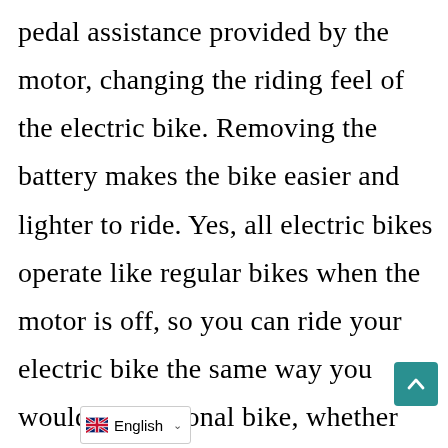pedal assistance provided by the motor, changing the riding feel of the electric bike. Removing the battery makes the bike easier and lighter to ride. Yes, all electric bikes operate like regular bikes when the motor is off, so you can ride your electric bike the same way you would a traditional bike, whether the motor is off or the battery is dead. For example, you may want to use the power only when climbing hills.
[Figure (other): Teal scroll-to-top button with upward chevron arrow]
🇬🇧 English ∨